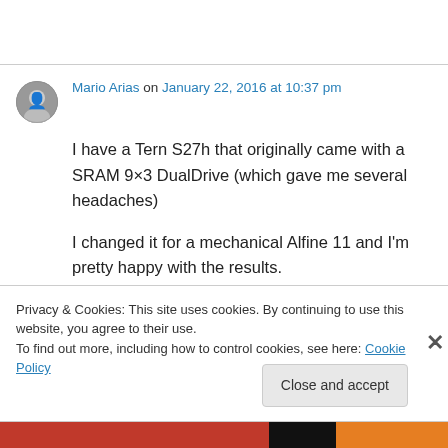[Figure (photo): Avatar/profile photo of Mario Arias, a small circular grayscale portrait]
Mario Arias on January 22, 2016 at 10:37 pm
I have a Tern S27h that originally came with a SRAM 9×3 DualDrive (which gave me several headaches)

I changed it for a mechanical Alfine 11 and I'm pretty happy with the results.
Privacy & Cookies: This site uses cookies. By continuing to use this website, you agree to their use.
To find out more, including how to control cookies, see here: Cookie Policy
Close and accept